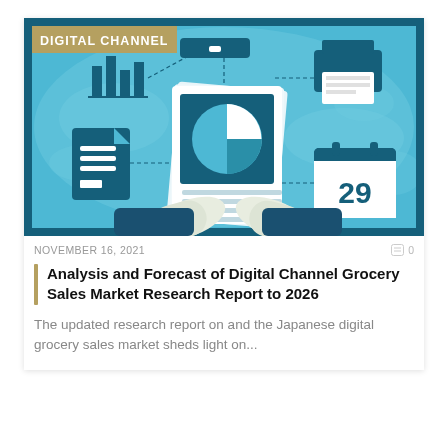[Figure (illustration): Digital channel infographic illustration showing a person holding a report with a pie chart, surrounded by icons: bar chart, document, USB/device, printer, calendar showing 29, on a light blue world map background. 'DIGITAL CHANNEL' label in top-left corner on a dark gold/olive banner.]
NOVEMBER 16, 2021
Analysis and Forecast of Digital Channel Grocery Sales Market Research Report to 2026
The updated research report on and the Japanese digital grocery sales market sheds light on...